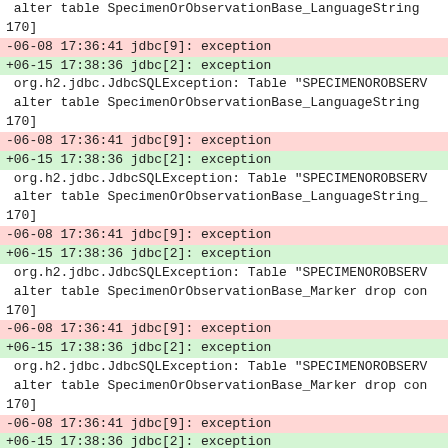alter table SpecimenOrObservationBase_LanguageString 170]
-06-08 17:36:41 jdbc[9]: exception
+06-15 17:38:36 jdbc[2]: exception
 org.h2.jdbc.JdbcSQLException: Table "SPECIMENOROBSERV
 alter table SpecimenOrObservationBase_LanguageString
170]
-06-08 17:36:41 jdbc[9]: exception
+06-15 17:38:36 jdbc[2]: exception
 org.h2.jdbc.JdbcSQLException: Table "SPECIMENOROBSERV
 alter table SpecimenOrObservationBase_LanguageString_
170]
-06-08 17:36:41 jdbc[9]: exception
+06-15 17:38:36 jdbc[2]: exception
 org.h2.jdbc.JdbcSQLException: Table "SPECIMENOROBSERV
 alter table SpecimenOrObservationBase_Marker drop con
170]
-06-08 17:36:41 jdbc[9]: exception
+06-15 17:38:36 jdbc[2]: exception
 org.h2.jdbc.JdbcSQLException: Table "SPECIMENOROBSERV
 alter table SpecimenOrObservationBase_Marker drop con
170]
-06-08 17:36:41 jdbc[9]: exception
+06-15 17:38:36 jdbc[2]: exception
 org.h2.jdbc.JdbcSQLException: Table "SPECIMENOROBSERV